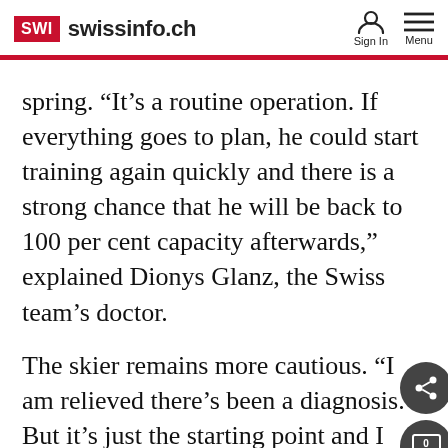SWI swissinfo.ch
spring. “It’s a routine operation. If everything goes to plan, he could start training again quickly and there is a strong chance that he will be back to 100 per cent capacity afterwards,” explained Dionys Glanz, the Swiss team’s doctor.
The skier remains more cautious. “I am relieved there’s been a diagnosis. But it’s just the starting point and I still don’t have all answers to my questions.”
Opinion
[Figure (photo): Partially visible pink/magenta circle image with broken image icon, associated with Opinion section]